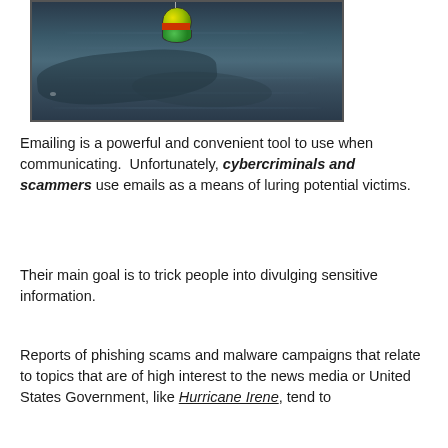[Figure (photo): A fishing bobber (yellow-green and orange) floating on dark rippling water, metaphor for phishing.]
Emailing is a powerful and convenient tool to use when communicating.  Unfortunately, cybercriminals and scammers use emails as a means of luring potential victims.
Their main goal is to trick people into divulging sensitive information.
Reports of phishing scams and malware campaigns that relate to topics that are of high interest to the news media or United States Government, like Hurricane Irene, tend to